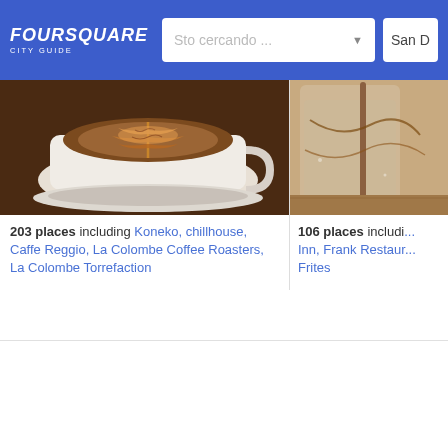FOURSQUARE CITY GUIDE — Sto cercando ... | San D
[Figure (screenshot): Coffee latte art in a white cup, top-down view, brown tones]
203 places including Koneko, chillhouse, Caffe Reggio, La Colombe Coffee Roasters, La Colombe Torrefaction
[Figure (photo): Partial view of a drink in a glass, right side cropped]
106 places includi... Inn, Frank Restaur... Frites
[Figure (logo): Greenwich Village Chelsea Chamber of Commerce logo — GV stylized letters in orange]
#RallyDowntown Scavenger Hunt
Greenwich Village Chelsea Chamber of Commerce  |  21 saves
[Figure (photo): Black and white avatar photo of Pete]
Work it
🔒 Pete 🔒  |  20
[Figure (photo): Close-up textured warm-toned image, bottom right section]